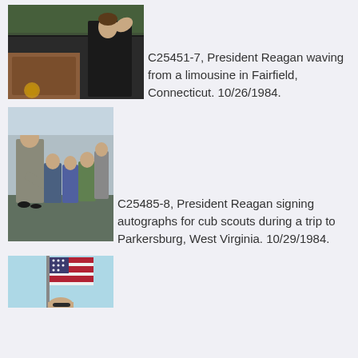[Figure (photo): President Reagan waving from inside a limousine, crowd visible outside]
C25451-7, President Reagan waving from a limousine in Fairfield, Connecticut. 10/26/1984.
[Figure (photo): President Reagan bending down signing autographs for cub scouts outdoors]
C25485-8, President Reagan signing autographs for cub scouts during a trip to Parkersburg, West Virginia. 10/29/1984.
[Figure (photo): American flag with a person partially visible below, outdoors]